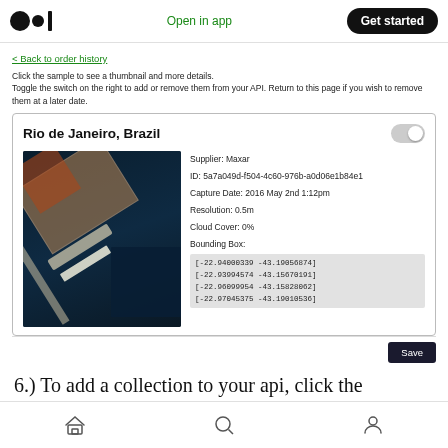Open in app | Get started
< Back to order history
Click the sample to see a thumbnail and more details.
Toggle the switch on the right to add or remove them from your API. Return to this page if you wish to remove them at a later date.
[Figure (screenshot): A card UI showing Rio de Janeiro, Brazil satellite imagery with metadata including Supplier: Maxar, ID: 5a7a049d-f504-4c60-976b-a0d06e1b84e1, Capture Date: 2016 May 2nd 1:12pm, Resolution: 0.5m, Cloud Cover: 0%, Bounding Box coordinates. A toggle switch is shown in the upper right, and a Save button at the bottom right.]
6.) To add a collection to your api, click the
Home | Search | Profile